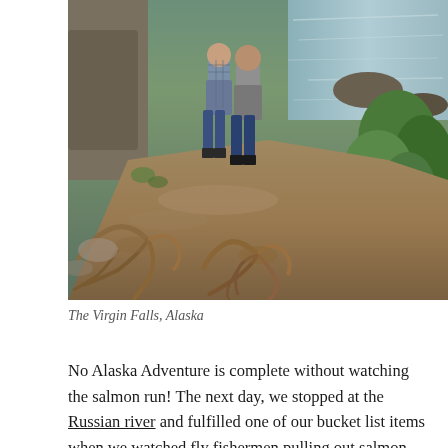[Figure (photo): Outdoor nature photo showing two people standing on a rocky dirt trail near a stream or river, with exposed tree roots on the ground in the foreground, green ferns and vegetation on the right side, and mossy rocks near water in the background.]
The Virgin Falls, Alaska
No Alaska Adventure is complete without watching the salmon run! The next day, we stopped at the Russian river and fulfilled one of our bucket list items when we watched fly fishermen pulling out salmon left and right. The Russian has to be one of the most beautiful rivers in